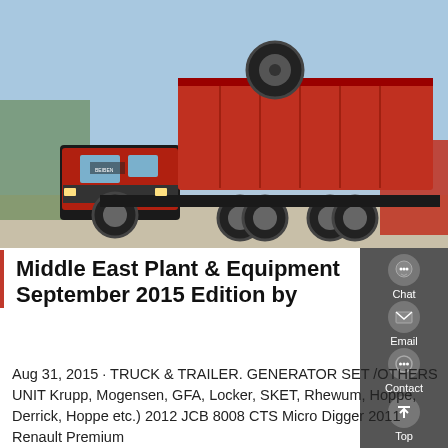[Figure (photo): Photo of a large red dump truck (8x4 configuration) with its tipper bed raised, parked in a yard. Other vehicles visible in the background.]
Middle East Plant & Equipment September 2015 Edition by
Aug 31, 2015 · TRUCK & TRAILER. GENERATOR SET /OTHERS UNIT Krupp, Mogensen, GFA, Locker, SKET, Rhewum, Hoppe, Derrick, Hoppe etc.) 2012 JCB 8008 CTS Micro Digger 2011 Renault Premium